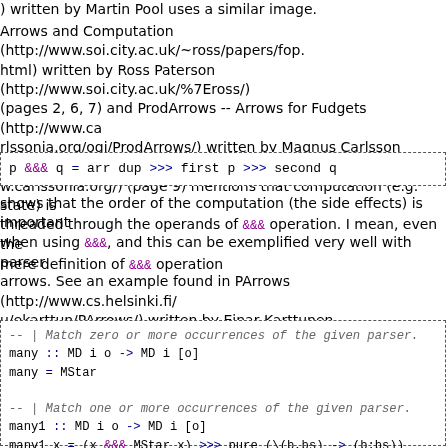) written by Martin Pool uses a similar image.
Arrows and Computation (http://www.soi.city.ac.uk/~ross/papers/fop.html) written by Ross Paterson (http://www.soi.city.ac.uk/%7Eross/) (pages 2, 6, 7) and ProdArrows -- Arrows for Fudgets (http://www.carlssonia.org/ogi/ProdArrows/) written by Magnus Carlsson (http://www.carlssonia.org/) (page 9) mentions that computation (e.g. state) is threaded through the operands of &&& operation. I mean, even the mere definition of &&& operation
shows that the order of the computation (the side effects) is important when using &&&, and this can be exemplified very well with parser arrows. See an example found in PArrows (http://www.cs.helsinki.fi/u/ekarttun/PArrows/) written by Einar Karttunen (http://www.haskell.org/tmrwiki/EinarKarttunen) (see module Text.ParserCombinators.PArrow.Combinator):
[Figure (other): Code block showing Haskell code for many and many1 functions using MD arrow types]
-- | Match zero or more occurrences of the given parser.
many :: MD i o -> MD i [o]
many = MStar

-- | Match one or more occurrences of the given parser.
many1 :: MD i o -> MD i [o]
many1 x = (x &&& MStar x) >>> pure (\(b,bs) -> (b:bs))